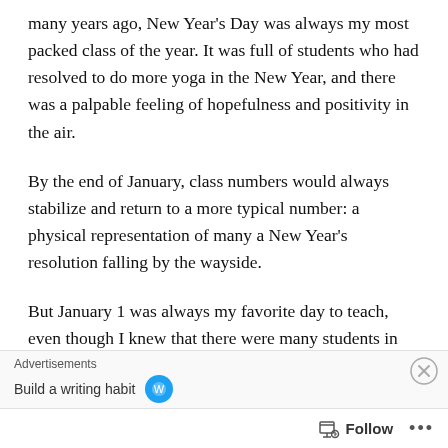many years ago, New Year's Day was always my most packed class of the year. It was full of students who had resolved to do more yoga in the New Year, and there was a palpable feeling of hopefulness and positivity in the air.
By the end of January, class numbers would always stabilize and return to a more typical number: a physical representation of many a New Year's resolution falling by the wayside.
But January 1 was always my favorite day to teach, even though I knew that there were many students in the class I would likely never see again. In that
Advertisements
Build a writing habit